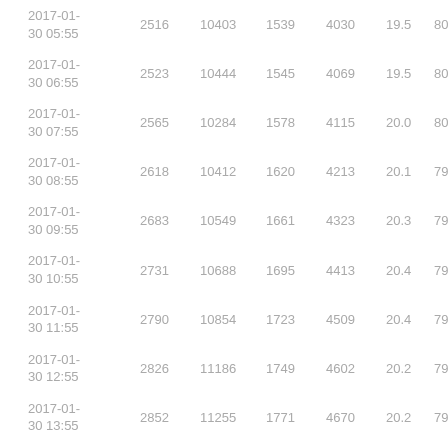| 2017-01-30 05:55 | 2516 | 10403 | 1539 | 4030 | 19.5 | 80.5 |
| 2017-01-30 06:55 | 2523 | 10444 | 1545 | 4069 | 19.5 | 80.5 |
| 2017-01-30 07:55 | 2565 | 10284 | 1578 | 4115 | 20.0 | 80.0 |
| 2017-01-30 08:55 | 2618 | 10412 | 1620 | 4213 | 20.1 | 79.9 |
| 2017-01-30 09:55 | 2683 | 10549 | 1661 | 4323 | 20.3 | 79.7 |
| 2017-01-30 10:55 | 2731 | 10688 | 1695 | 4413 | 20.4 | 79.6 |
| 2017-01-30 11:55 | 2790 | 10854 | 1723 | 4509 | 20.4 | 79.6 |
| 2017-01-30 12:55 | 2826 | 11186 | 1749 | 4602 | 20.2 | 79.8 |
| 2017-01-30 13:55 | 2852 | 11255 | 1771 | 4670 | 20.2 | 79.8 |
| 2017-01-30 14:55 | 2883 | 11311 | 1795 | 4726 | 20.3 | 79.7 |
| 2017-01-30 ... | 2902 | 11382 | 1811 | 4784 | 20.3 | 79.7 |